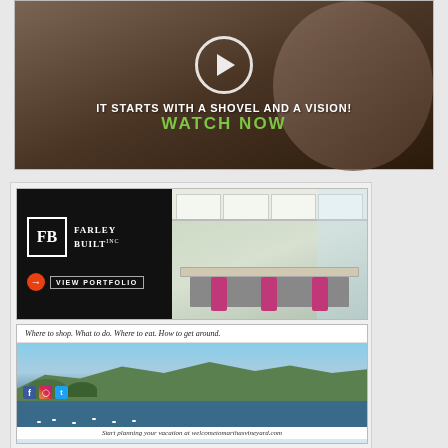[Figure (photo): Video thumbnail advertisement with a man in background, play button circle, text 'IT STARTS WITH A SHOVEL AND A VISION!' and 'WATCH NOW' in green]
[Figure (photo): Farley Built Inc. advertisement showing logo on black background left side and modern kitchen with pink barstools on right side, with VIEW PORTFOLIO button]
[Figure (photo): Martha's Vineyard tourism advertisement with aerial photo of harbor town and text 'Where to shop. What to do. Where to eat. How to get around.' and social media icons, URL welcometomarthasvineyard.com]